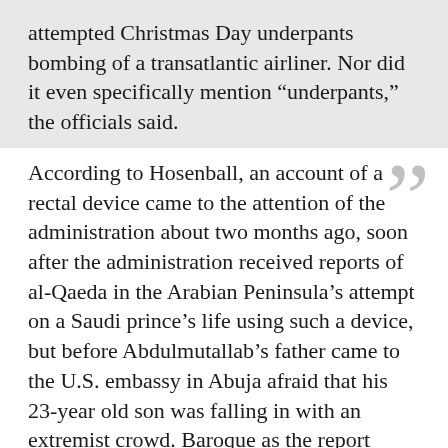attempted Christmas Day underpants bombing of a transatlantic airliner. Nor did it even specifically mention “underpants,” the officials said.
According to Hosenball, an account of a rectal device came to the attention of the administration about two months ago, soon after the administration received reports of al-Qaeda in the Arabian Peninsula’s attempt on a Saudi prince’s life using such a device, but before Abdulmutallab’s father came to the U.S. embassy in Abuja afraid that his 23-year old son was falling in with an extremist crowd. Baroque as the report appears to have been — it discusses how the body of a suicide bomber would most likely absorb most of the blast of a bomb placed in someone’s anus — it also looks to be another fragmentary piece of intelligence that looks